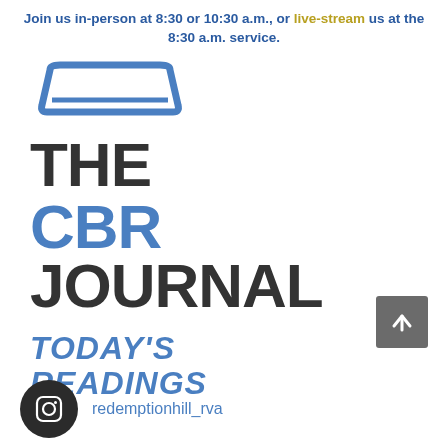Join us in-person at 8:30 or 10:30 a.m., or live-stream us at the 8:30 a.m. service.
[Figure (logo): The CBR Journal logo with a tray/inbox icon above the text, and 'TODAY'S READINGS' in blue italic below]
[Figure (other): Grey square scroll-to-top button with upward arrow]
[Figure (other): Instagram icon circle (dark background) with handle text 'redemptionhill_rva']